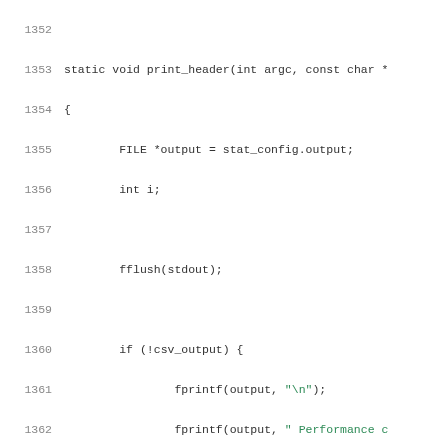Source code listing lines 1352-1372 of a C program showing the print_header function implementation.